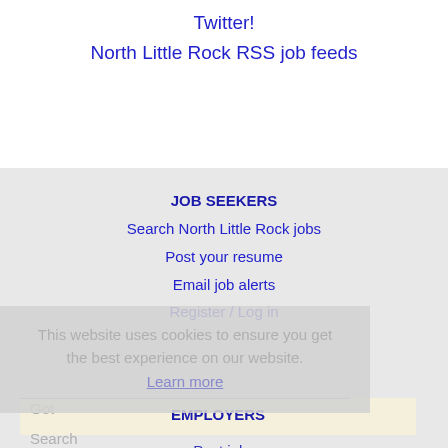Twitter!
North Little Rock RSS job feeds
JOB SEEKERS
Search North Little Rock jobs
Post your resume
Email job alerts
Register / Log in
This website uses cookies to ensure you get the best experience on our website.
Learn more
EMPLOYERS
Post jobs
Search resumes